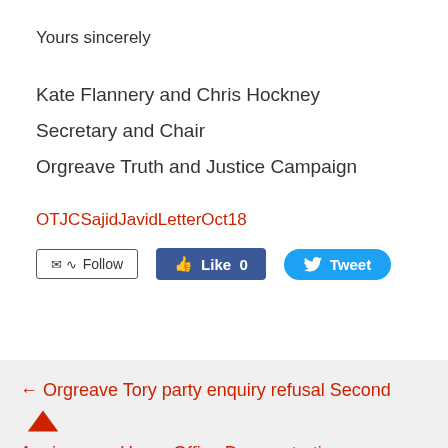Yours sincerely
Kate Flannery and Chris Hockney
Secretary and Chair
Orgreave Truth and Justice Campaign
OTJCSajidJavidLetterOct18
[Figure (screenshot): Social media buttons: Follow, Like 0 (Facebook), Tweet (Twitter)]
← Orgreave Tory party enquiry refusal Second Anniversary Home Office Demonstration